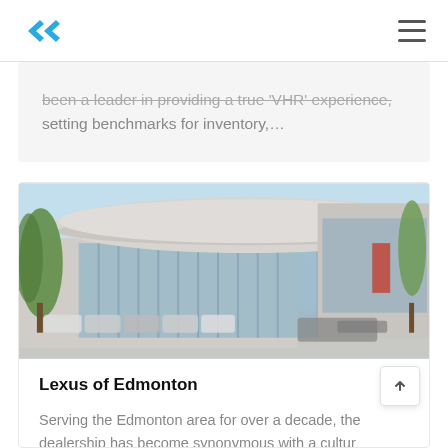been a leader in providing a true 'VHR' experience, setting benchmarks for inventory,...
[Figure (photo): Exterior photo of Lexus of Edmonton dealership building with distinctive circular flat roof, large glass facade, and cars parked in front under a blue sky with trees on the left.]
Lexus of Edmonton
Serving the Edmonton area for over a decade, the dealership has become synonymous with a culture of excellence and high...